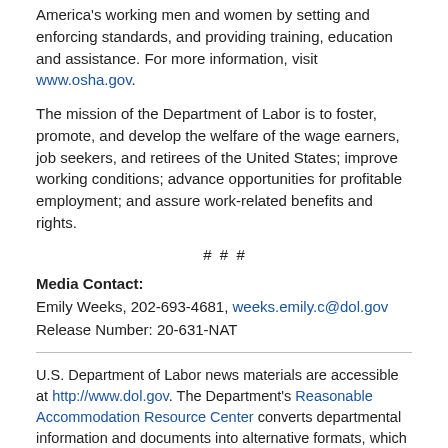America's working men and women by setting and enforcing standards, and providing training, education and assistance. For more information, visit www.osha.gov.
The mission of the Department of Labor is to foster, promote, and develop the welfare of the wage earners, job seekers, and retirees of the United States; improve working conditions; advance opportunities for profitable employment; and assure work-related benefits and rights.
# # #
Media Contact:
Emily Weeks, 202-693-4681, weeks.emily.c@dol.gov
Release Number: 20-631-NAT
U.S. Department of Labor news materials are accessible at http://www.dol.gov. The Department's Reasonable Accommodation Resource Center converts departmental information and documents into alternative formats, which include Braille and large print. For alternative format requests, please contact the Department at (202) 693-7828 (voice) or (800) 877-8339 (federal relay).